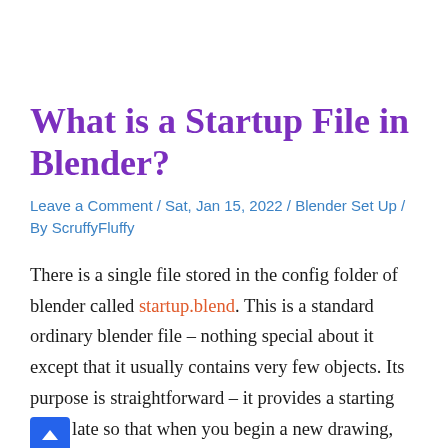What is a Startup File in Blender?
Leave a Comment / Sat, Jan 15, 2022 / Blender Set Up / By ScruffyFluffy
There is a single file stored in the config folder of blender called startup.blend. This is a standard ordinary blender file – nothing special about it except that it usually contains very few objects. Its purpose is straightforward – it provides a starting template so that when you begin a new drawing, there are specific pre-set settings just like you